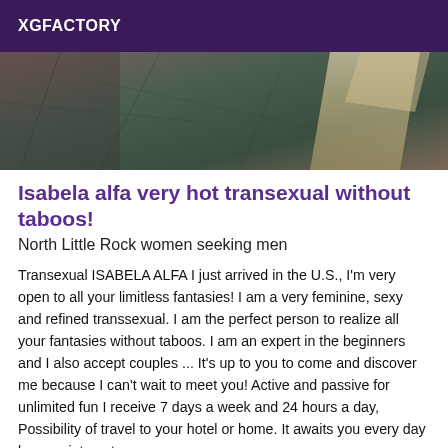XGFACTORY
[Figure (photo): Partial photo showing legs/feet with high heels on a dark tiled or stone floor surface]
Isabela alfa very hot transexual without taboos!
North Little Rock women seeking men
Transexual ISABELA ALFA I just arrived in the U.S., I'm very open to all your limitless fantasies! I am a very feminine, sexy and refined transsexual. I am the perfect person to realize all your fantasies without taboos. I am an expert in the beginners and I also accept couples ... It's up to you to come and discover me because I can't wait to meet you! Active and passive for unlimited fun I receive 7 days a week and 24 hours a day, Possibility of travel to your hotel or home. It awaits you every day by appointment.